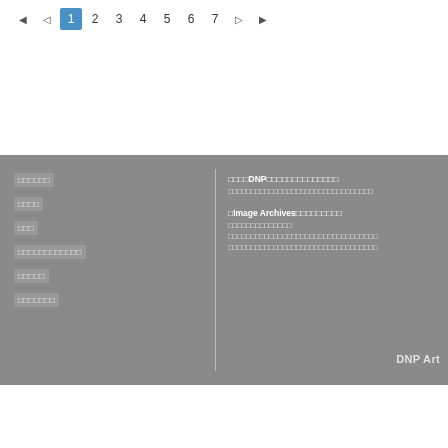◀ ◁ 1 2 3 4 5 6 7 ▷ ▶
[Figure (other): Gray footer section with navigation links on the left, a vertical divider, descriptive text about DNP Image Archives on the right, and DNP Art branding at bottom right]
□□□□□□ □□□□ □□□ □□□□□□□□□□□□ □□□□□ □□□□□□□
□□□□□DNP□□□□□□□□□□□□□□□□□□□□□□□□□□□□□□□□□□□□□□□□□□□□□□□□□□□□□□□□□□□ □Image Archives□□□□□□□□□□□□□□□□□□□□□□□□□□□□□□□□□□□□□□□□□□□□□□□□□□□□□□□□□□□□□□□□□□□□□□□□□□□□
DNP Art